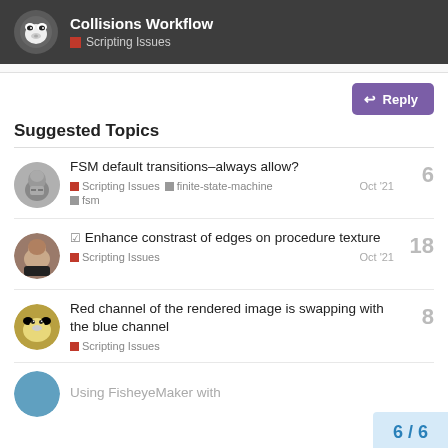Collisions Workflow — Scripting Issues
Suggested Topics
FSM default transitions–always allow? | Scripting Issues | finite-state-machine | fsm | Oct '21 | 6 replies
Enhance constrast of edges on procedure texture | Scripting Issues | Oct '21 | 18 replies
Red channel of the rendered image is swapping with the blue channel | Scripting Issues | 8 replies
Using FisheyeMaker with ...
6 / 6